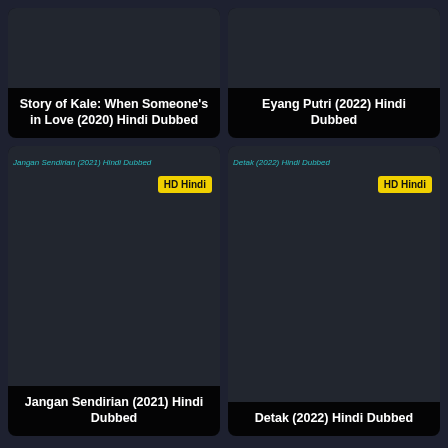[Figure (screenshot): Movie card: Story of Kale: When Someone's in Love (2020) Hindi Dubbed]
[Figure (screenshot): Movie card: Eyang Putri (2022) Hindi Dubbed]
[Figure (screenshot): Movie card: Jangan Sendirian (2021) Hindi Dubbed with HD Hindi badge]
[Figure (screenshot): Movie card: Detak (2022) Hindi Dubbed with HD Hindi badge]